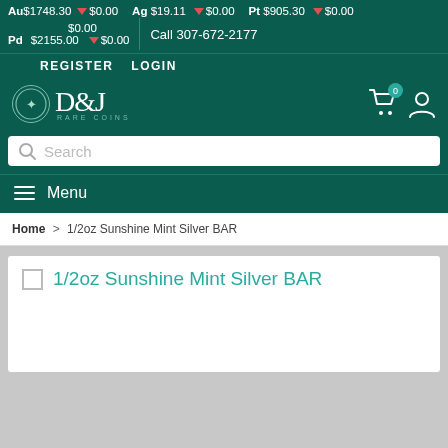Au$1748.30 ▼ $0.00   Ag $19.11 ▼ $0.00   Pt $905.30 ▼ $0.00   $0.00   Pd $2155.00 ▼ $0.00   Call 307-672-2177
REGISTER   LOGIN
[Figure (logo): D&J Rare Coins logo with circular coin emblem]
Search
Menu
Home > 1/2oz Sunshine Mint Silver BAR
1/2oz Sunshine Mint Silver BAR